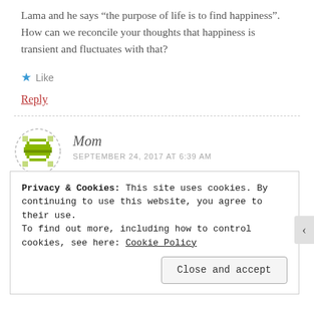Lama and he says “the purpose of life is to find happiness”. How can we reconcile your thoughts that happiness is transient and fluctuates with that?
★ Like
Reply
[Figure (illustration): Avatar icon: circular dashed border with a green geometric/pixel-art avatar in the center]
Mom
SEPTEMBER 24, 2017 AT 6:39 AM
Privacy & Cookies: This site uses cookies. By continuing to use this website, you agree to their use.
To find out more, including how to control cookies, see here: Cookie Policy
Close and accept